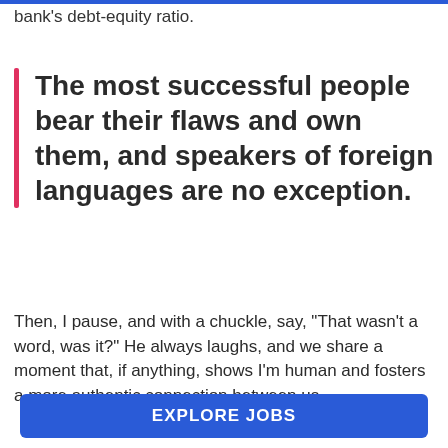bank's debt-equity ratio.
The most successful people bear their flaws and own them, and speakers of foreign languages are no exception.
Then, I pause, and with a chuckle, say, "That wasn't a word, was it?" He always laughs, and we share a moment that, if anything, shows I'm human and fosters a more authentic connection between us.
Ready to Find a Job Abroad?
EXPLORE JOBS